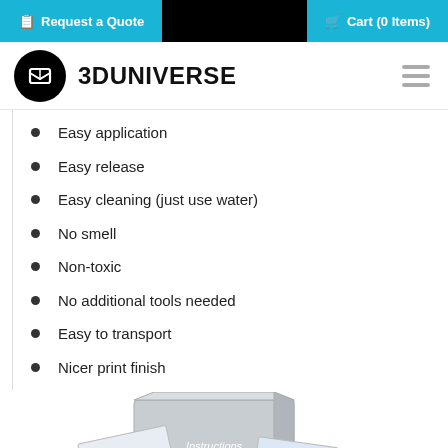Request a Quote | Cart (0 Items)
3DUNIVERSE
Easy application
Easy release
Easy cleaning (just use water)
No smell
Non-toxic
No additional tools needed
Easy to transport
Nicer print finish
[Figure (photo): Product packaging photo showing a box labeled 'Instructions' along with printed material sheets]